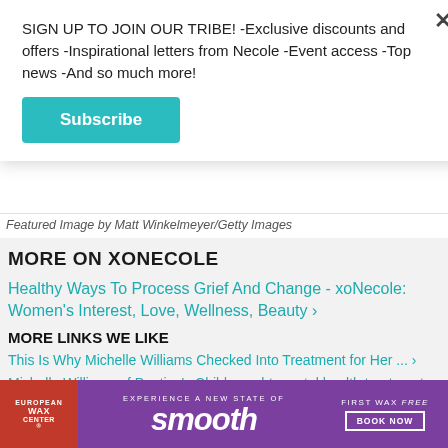SIGN UP TO JOIN OUR TRIBE! -Exclusive discounts and offers -Inspirational letters from Necole -Event access -Top news -And so much more!
Subscribe
Featured Image by Matt Winkelmeyer/Getty Images
MORE ON XONECOLE
Healthy Ways To Process Grief And Change - xoNecole: Women&#39;s Interest, Love, Wellness, Beauty ›
MORE LINKS WE LIKE
This Is Why Michelle Williams Checked Into Treatment for Her ... ›
Michelle Williams of Destiny's Child sought mental health treatment ... ›
Michelle Williams reveals she 'proudly' sought mental health treatment ›
[Figure (advertisement): European Wax Center advertisement banner: 'Experience a New State of smooth - First Wax Free - Book Now']